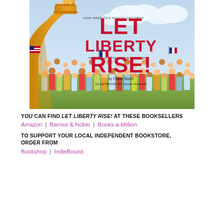[Figure (illustration): Book cover of 'Let Liberty Rise! How America's Schoolchildren Helped Save the Statue of Liberty' by Chana Stiefel, illustrated by Chuck Groenink. Features the torch of the Statue of Liberty held aloft on the left, with a crowd of children waving American and French flags below. Red bold title text on a light blue sky background.]
YOU CAN FIND LET LIBERTY RISE! AT THESE BOOKSELLERS
Amazon | Barnes & Noble | Books-a-Million
TO SUPPORT YOUR LOCAL INDEPENDENT BOOKSTORE, ORDER FROM
Bookshop | IndieBound